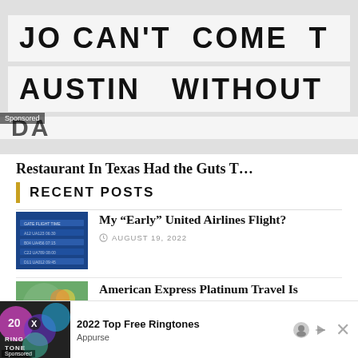[Figure (photo): Black and white sign reading 'YOU CAN'T COME TO AUSTIN WITHOUT' with 'Sponsored' badge overlay]
Restaurant In Texas Had the Guts T…
RECENT POSTS
[Figure (photo): Blue airline departure board thumbnail]
My “Early” United Airlines Flight?
AUGUST 19, 2022
[Figure (photo): Woman holding American Express Platinum card thumbnail]
American Express Platinum Travel Is Exasperating
AUGUST 19, 2022
[Figure (photo): Airplane seats thumbnail]
Drunk Passenger Destroys Airplane Seats During Violent Outburst
[Figure (screenshot): Ad banner: 2022 Top Free Ringtones by Appurse, with colorful gradient image and Sponsored label]